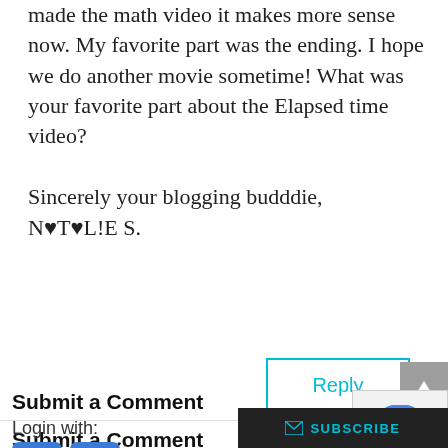made the math video it makes more sense now. My favorite part was the ending. I hope we do another movie sometime! What was your favorite part about the Elapsed time video?

Sincerely your blogging budddie,
N♥T♥L!E S.
Reply
Submit a Comment
Login with: